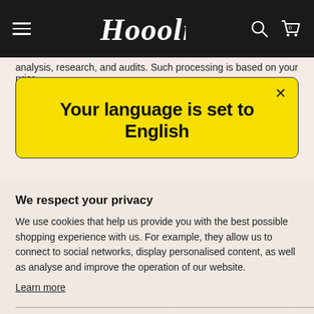Hoooli [navigation bar with hamburger menu, logo, search icon, cart icon with 0]
analysis, research, and audits. Such processing is based on your prior
Your language is set to English
We respect your privacy
We use cookies that help us provide you with the best possible shopping experience with us. For example, they allow us to connect to social networks, display personalised content, as well as analyse and improve the operation of our website.
Learn more
Ok
[bottom cut-off text]